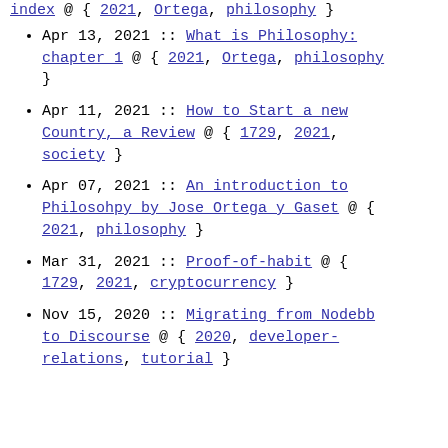index @ { 2021, Ortega, philosophy }
Apr 13, 2021 :: What is Philosophy: chapter 1 @ { 2021, Ortega, philosophy }
Apr 11, 2021 :: How to Start a new Country, a Review @ { 1729, 2021, society }
Apr 07, 2021 :: An introduction to Philosohpy by Jose Ortega y Gaset @ { 2021, philosophy }
Mar 31, 2021 :: Proof-of-habit @ { 1729, 2021, cryptocurrency }
Nov 15, 2020 :: Migrating from Nodebb to Discourse @ { 2020, developer-relations, tutorial }